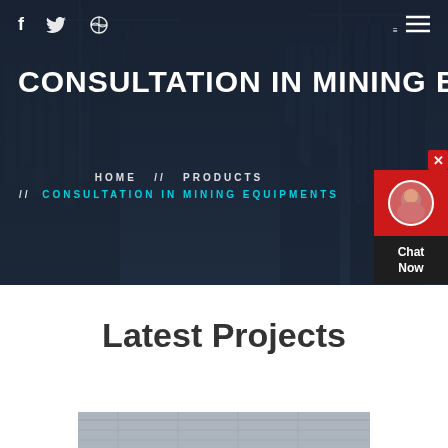[Figure (photo): Hero background: dark blue-tinted cityscape with construction cranes and buildings under development]
f  [twitter icon]  [dribbble icon]  [hamburger menu icon]
CONSULTATION IN MINING EQU
HOME  //  PRODUCTS  //  CONSULTATION IN MINING EQUIPMENTS
Latest Projects
[Figure (photo): Bottom partial image of a construction/industrial interior scene]